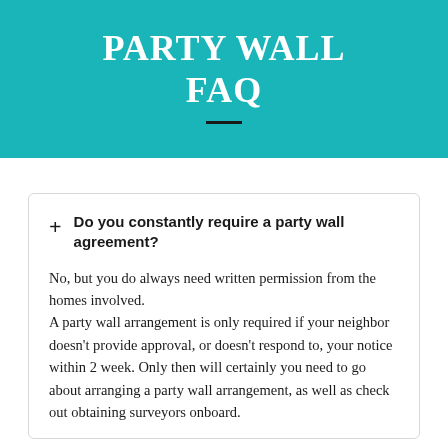PARTY WALL FAQ
Do you constantly require a party wall agreement?
No, but you do always need written permission from the homes involved. A party wall arrangement is only required if your neighbor doesn't provide approval, or doesn't respond to, your notice within 2 week. Only then will certainly you need to go about arranging a party wall arrangement, as well as check out obtaining surveyors onboard.